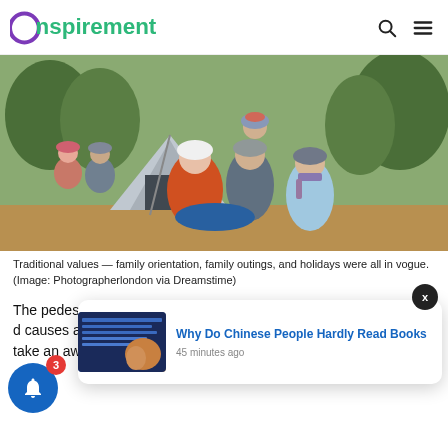Nspirement
[Figure (photo): A family of multiple generations posing outdoors near a camping tent in a wooded area. A woman in orange and white hat, a man in grey hat with a child on his shoulders, a teenage girl in light blue jacket and striped scarf, and two older adults seated in the background.]
Traditional values — family orientation, family outings, and holidays were all in vogue. (Image: Photographerlondon via Dreamstime)
The pedestal t… as cool a… d causes a huge portion of modern society to take an awful lot of this behavior as the acceptable
[Figure (screenshot): Popup notification card showing article: 'Why Do Chinese People Hardly Read Books' with a thumbnail image and timestamp '45 minutes ago']